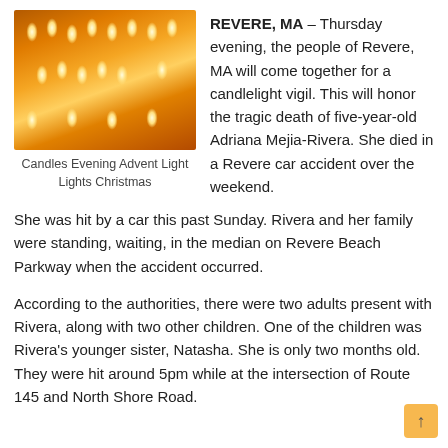[Figure (photo): Photo of many lit orange/yellow candles with glowing flames against a warm background]
Candles Evening Advent Light Lights Christmas
REVERE, MA – Thursday evening, the people of Revere, MA will come together for a candlelight vigil. This will honor the tragic death of five-year-old Adriana Mejia-Rivera. She died in a Revere car accident over the weekend.
She was hit by a car this past Sunday. Rivera and her family were standing, waiting, in the median on Revere Beach Parkway when the accident occurred.
According to the authorities, there were two adults present with Rivera, along with two other children. One of the children was Rivera's younger sister, Natasha. She is only two months old. They were hit around 5pm while at the intersection of Route 145 and North Shore Road.